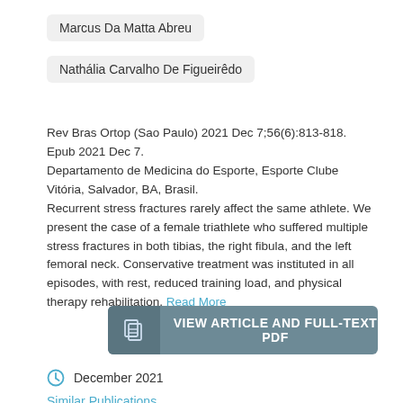Marcus Da Matta Abreu
Nathália Carvalho De Figueirêdo
Rev Bras Ortop (Sao Paulo) 2021 Dec 7;56(6):813-818. Epub 2021 Dec 7.
Departamento de Medicina do Esporte, Esporte Clube Vitória, Salvador, BA, Brasil.
Recurrent stress fractures rarely affect the same athlete. We present the case of a female triathlete who suffered multiple stress fractures in both tibias, the right fibula, and the left femoral neck. Conservative treatment was instituted in all episodes, with rest, reduced training load, and physical therapy rehabilitation. Read More
[Figure (screenshot): Button labeled VIEW ARTICLE AND FULL-TEXT PDF with a book/document icon on the left side, dark teal/grey background]
December 2021
Similar Publications